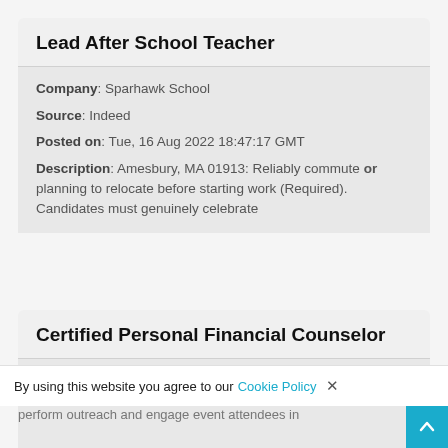Lead After School Teacher
Company: Sparhawk School
Source: Indeed
Posted on: Tue, 16 Aug 2022 18:47:17 GMT
Description: Amesbury, MA 01913: Reliably commute or planning to relocate before starting work (Required). Candidates must genuinely celebrate
Certified Personal Financial Counselor
Company: Zeiders Enterprises, Inc.
Source: Zeiders Enterprises, Inc.
Posted on: Fri, 06 Aug 2021 16:18:52 GMT
Description: 3+ years of experience in financial
perform outreach and engage event attendees in
By using this website you agree to our Cookie Policy ×